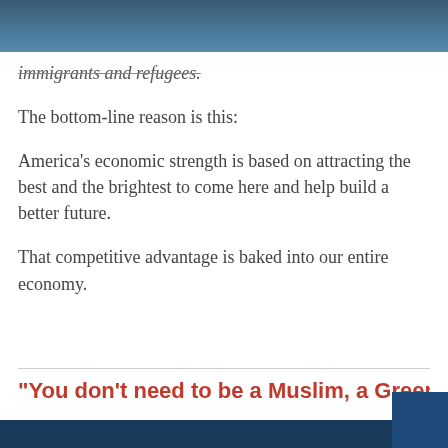immigrants and refugees.
The bottom-line reason is this:
America's economic strength is based on attracting the best and the brightest to come here and help build a better future.
That competitive advantage is baked into our entire economy.
"You don't need to be a Muslim, a Green Card